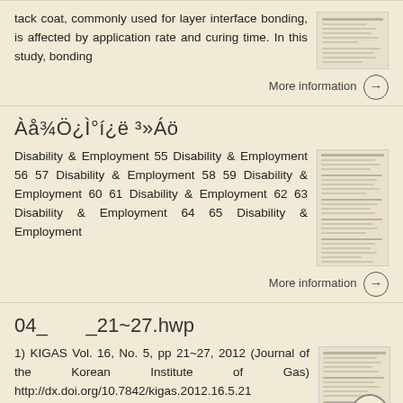tack coat, commonly used for layer interface bonding, is affected by application rate and curing time. In this study, bonding
More information →
Àå¾Ö¿Ì°í¿ë ³»Áö
Disability & Employment 55 Disability & Employment 56 57 Disability & Employment 58 59 Disability & Employment 60 61 Disability & Employment 62 63 Disability & Employment 64 65 Disability & Employment
More information →
04_        _21~27.hwp
1) KIGAS Vol. 16, No. 5, pp 21~27, 2012 (Journal of the Korean Institute of Gas) http://dx.doi.org/10.7842/kigas.2012.16.5.21